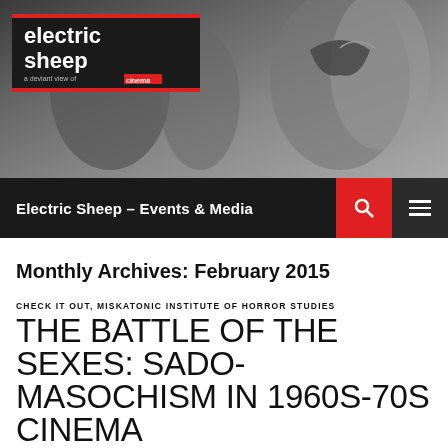[Figure (photo): Black and white photograph of people wearing decorative masquerade masks, used as website header background]
Electric Sheep – Events & Media
Monthly Archives: February 2015
CHECK IT OUT, MISKATONIC INSTITUTE OF HORROR STUDIES
THE BATTLE OF THE SEXES: SADO-MASOCHISM IN 1960S-70S CINEMA
FEBRUARY 18, 2015   VIRGINIE SELAVY